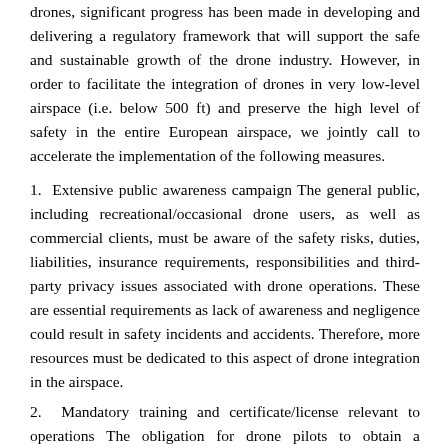drones, significant progress has been made in developing and delivering a regulatory framework that will support the safe and sustainable growth of the drone industry. However, in order to facilitate the integration of drones in very low-level airspace (i.e. below 500 ft) and preserve the high level of safety in the entire European airspace, we jointly call to accelerate the implementation of the following measures.
1.  Extensive public awareness campaign The general public, including recreational/occasional drone users, as well as commercial clients, must be aware of the safety risks, duties, liabilities, insurance requirements, responsibilities and third-party privacy issues associated with drone operations. These are essential requirements as lack of awareness and negligence could result in safety incidents and accidents. Therefore, more resources must be dedicated to this aspect of drone integration in the airspace.
2.  Mandatory training and certificate/license relevant to operations The obligation for drone pilots to obtain a certificate